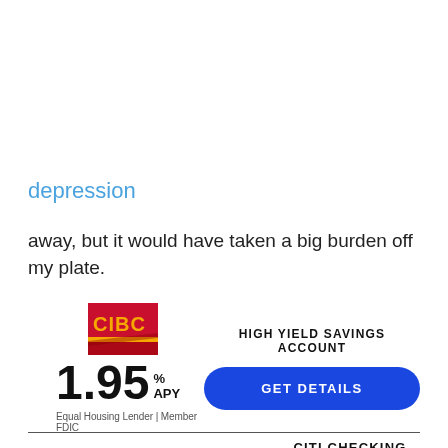depression
away, but it would have taken a big burden off my plate.
[Figure (infographic): CIBC High Yield Savings Account advertisement. Shows CIBC logo, rate of 1.95% APY, Equal Housing Lender | Member FDIC, and a blue GET DETAILS button.]
[Figure (logo): Citi logo with CITI CHECKING label partially visible at bottom of page.]